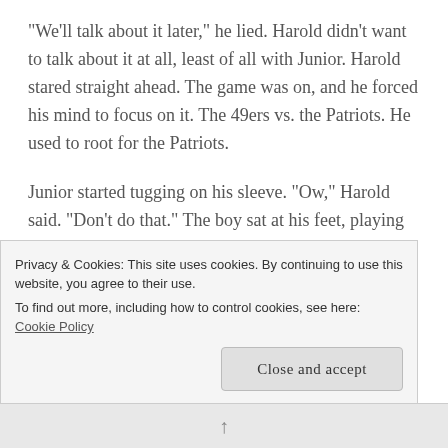“We’ll talk about it later,” he lied. Harold didn’t want to talk about it at all, least of all with Junior. Harold stared straight ahead. The game was on, and he forced his mind to focus on it. The 49ers vs. the Patriots. He used to root for the Patriots.
Junior started tugging on his sleeve. “Ow,” Harold said. “Don’t do that.” The boy sat at his feet, playing with a wind-up man. Harold’s mind would not focus, even when the tv deafened him. The bell of the hallway clock rang out five times. He gave up the
Privacy & Cookies: This site uses cookies. By continuing to use this website, you agree to their use.
To find out more, including how to control cookies, see here: Cookie Policy
Close and accept